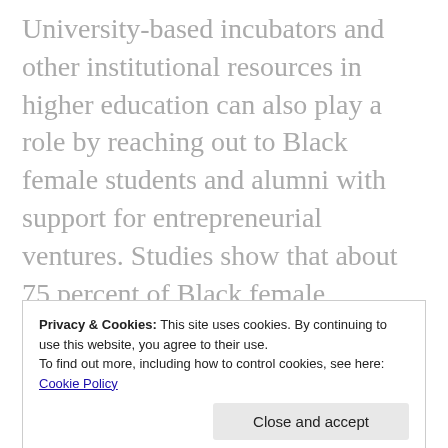University-based incubators and other institutional resources in higher education can also play a role by reaching out to Black female students and alumni with support for entrepreneurial ventures. Studies show that about 75 percent of Black female entrepreneurs have earned at least a four-year degree. Their schools are well-positioned to assist them with collaborative projects and resources for building entrepreneurial skills and accessing needed connections to capital.
Privacy & Cookies: This site uses cookies. By continuing to use this website, you agree to their use. To find out more, including how to control cookies, see here: Cookie Policy
Close and accept
viewpoints, experiences, and ideas into their